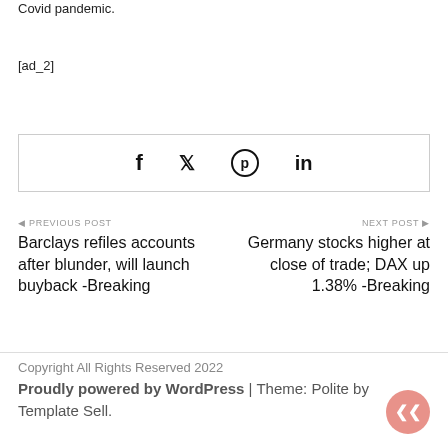Covid pandemic.
[ad_2]
[Figure (other): Social share buttons box with Facebook, Twitter, Pinterest, and LinkedIn icons]
◀ PREVIOUS POST
Barclays refiles accounts after blunder, will launch buyback -Breaking
NEXT POST ▶
Germany stocks higher at close of trade; DAX up 1.38% -Breaking
Copyright All Rights Reserved 2022
Proudly powered by WordPress | Theme: Polite by Template Sell.